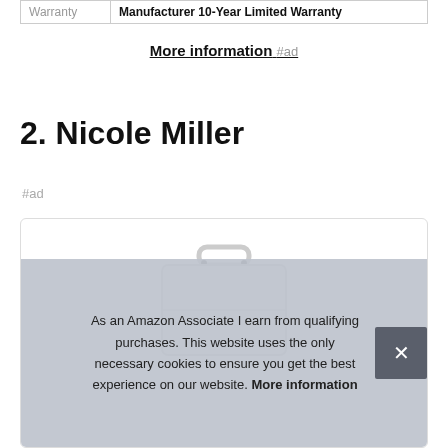| Warranty | Manufacturer 10-Year Limited Warranty |
| --- | --- |
More information #ad
2. Nicole Miller
#ad
[Figure (photo): Product image of a white suitcase/briefcase with handle visible at top, partially shown inside a bordered product card]
As an Amazon Associate I earn from qualifying purchases. This website uses the only necessary cookies to ensure you get the best experience on our website. More information